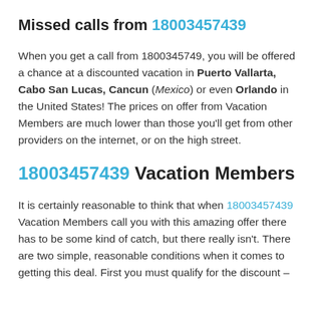Missed calls from 18003457439
When you get a call from 1800345749, you will be offered a chance at a discounted vacation in Puerto Vallarta, Cabo San Lucas, Cancun (Mexico) or even Orlando in the United States! The prices on offer from Vacation Members are much lower than those you'll get from other providers on the internet, or on the high street.
18003457439 Vacation Members
It is certainly reasonable to think that when 18003457439 Vacation Members call you with this amazing offer there has to be some kind of catch, but there really isn't. There are two simple, reasonable conditions when it comes to getting this deal. First you must qualify for the discount –